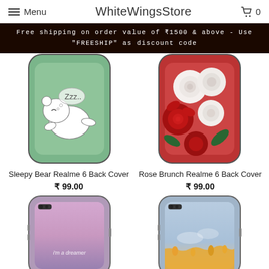Menu  WhiteWingsStore  0
Free shipping on order value of ₹1500 & above - Use "FREESHIP" as discount code
[Figure (photo): Sleepy Bear phone case – green background with cartoon polar bear sleeping with 'Zzz..' speech bubble]
[Figure (photo): Rose Brunch phone case – photo of red and white roses]
Sleepy Bear Realme 6 Back Cover
₹ 99.00
Rose Brunch Realme 6 Back Cover
₹ 99.00
[Figure (photo): Phone case with purple/pink dreamy sky background and text 'i'm a dreamer']
[Figure (photo): Phone case with light blue sky and dripping honey/sunset landscape design]